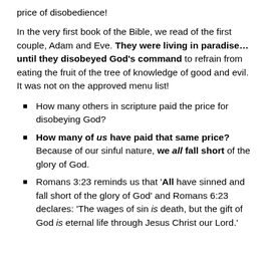price of disobedience!
In the very first book of the Bible, we read of the first couple, Adam and Eve. They were living in paradise… until they disobeyed God's command to refrain from eating the fruit of the tree of knowledge of good and evil. It was not on the approved menu list!
How many others in scripture paid the price for disobeying God?
How many of us have paid that same price? Because of our sinful nature, we all fall short of the glory of God.
Romans 3:23 reminds us that 'All have sinned and fall short of the glory of God' and Romans 6:23 declares: 'The wages of sin is death, but the gift of God is eternal life through Jesus Christ our Lord.'